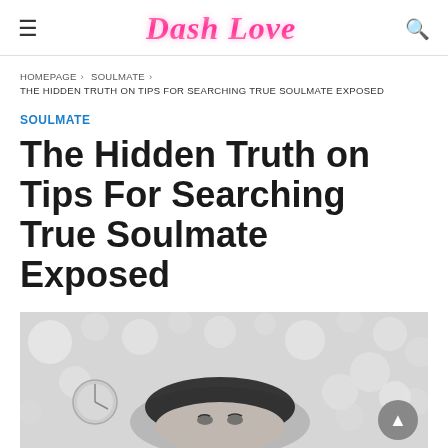Dash Love
HOMEPAGE › SOULMATE › THE HIDDEN TRUTH ON TIPS FOR SEARCHING TRUE SOULMATE EXPOSED
SOULMATE
The Hidden Truth on Tips For Searching True Soulmate Exposed
[Figure (photo): Grayscale photo of a person lying down with fairy lights in the background, viewed from above]